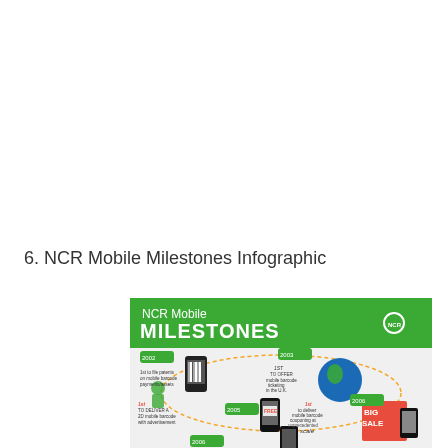6. NCR Mobile Milestones Infographic
[Figure (infographic): NCR Mobile Milestones infographic showing a green banner header with 'NCR Mobile MILESTONES' and NCR logo. Timeline with milestones: 2002 - 1st to file patents on mobile barcode payments/assets and 1st to deliver a pan-mobile consumer barcode; 2003 - 1st to offer mobile barcode ticketing in the U.K.; 2005 - 1st to deliver a 2D mobile barcode with advertisement; 2006 - milestone shown at bottom; 2006 - 1st to deliver mobile barcode couponing at unprecedented scale. Shows cartoon character holding phone, globe image, phones showing coupons and barcodes.]